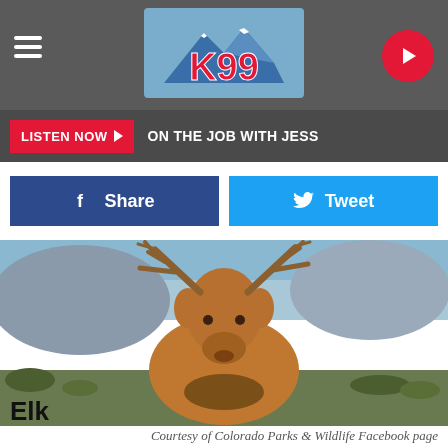K99 radio station header with hamburger menu, K99 logo, and play button
LISTEN NOW ▶  ON THE JOB WITH JESS
[Figure (other): Facebook Share button (dark blue) and Twitter Tweet button (light blue)]
[Figure (photo): A bull elk with large antlers facing the camera, standing in a rocky, brushy Colorado landscape. Photo courtesy of Colorado Parks & Wildlife Facebook page.]
Courtesy of Colorado Parks & Wildlife Facebook page
Elk
There are more than around 287,000 elk in Colorado